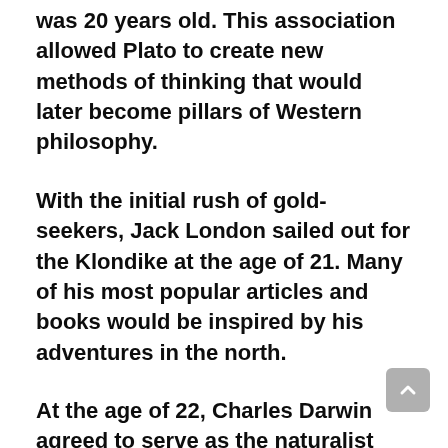was 20 years old. This association allowed Plato to create new methods of thinking that would later become pillars of Western philosophy.
With the initial rush of gold-seekers, Jack London sailed out for the Klondike at the age of 21. Many of his most popular articles and books would be inspired by his adventures in the north.
At the age of 22, Charles Darwin agreed to serve as the naturalist aboard the HMS Beagle on a five-year expedition to South America and the Galápagos Islands.